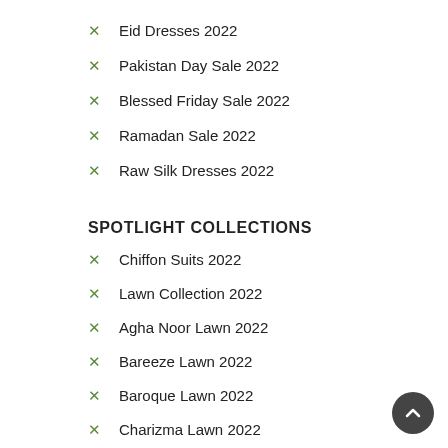Eid Dresses 2022
Pakistan Day Sale 2022
Blessed Friday Sale 2022
Ramadan Sale 2022
Raw Silk Dresses 2022
SPOTLIGHT COLLECTIONS
Chiffon Suits 2022
Lawn Collection 2022
Agha Noor Lawn 2022
Bareeze Lawn 2022
Baroque Lawn 2022
Charizma Lawn 2022
Khaadi Lawn 2022